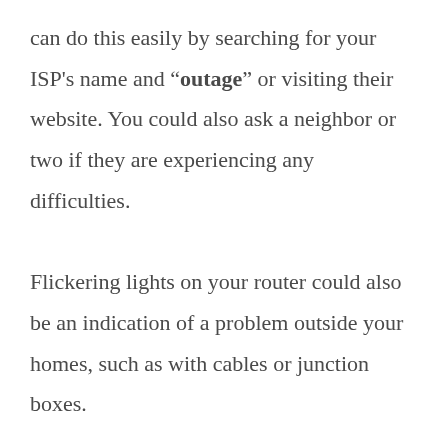can do this easily by searching for your ISP's name and “outage” or visiting their website. You could also ask a neighbor or two if they are experiencing any difficulties.

Flickering lights on your router could also be an indication of a problem outside your homes, such as with cables or junction boxes.

If you’re having difficulties with a specific online service, go to Down For Everyone Or Just Me, type